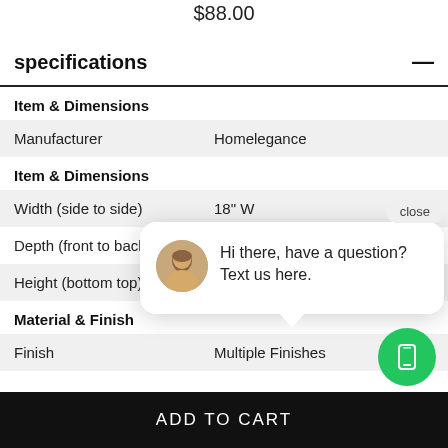$88.00
specifications
Item & Dimensions
|  |  |
| --- | --- |
| Manufacturer | Homelegance |
Item & Dimensions
|  |  |
| --- | --- |
| Width (side to side) | 18" W |
| Depth (front to back) | 9" D |
| Height (bottom top) |  |
Material & Finish
|  |  |
| --- | --- |
| Finish | Multiple Finishes |
[Figure (screenshot): Chat popup with avatar photo of a woman and text 'Hi there, have a question? Text us here.' with a close button and green phone icon button]
ADD TO CART